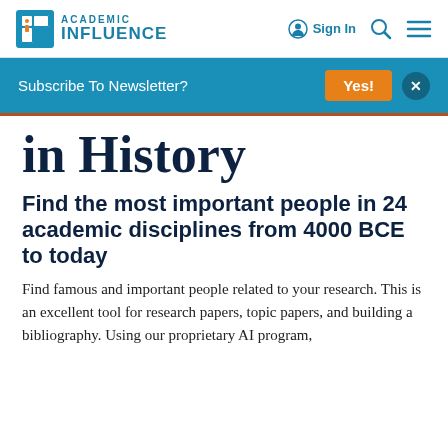ACADEMIC INFLUENCE | Sign In
Subscribe To Newsletter?
in History
Find the most important people in 24 academic disciplines from 4000 BCE to today
Find famous and important people related to your research. This is an excellent tool for research papers, topic papers, and building a bibliography. Using our proprietary AI program,